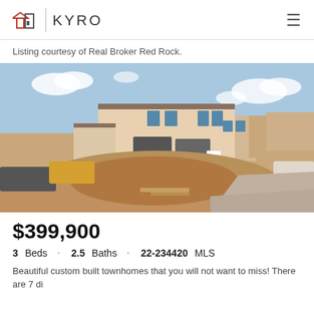KYRO | JOHN HOON TEAM
Listing courtesy of Real Broker Red Rock.
[Figure (photo): Exterior photo of a newly constructed two-story stucco townhome under construction, with dirt/gravel in foreground, a yellow truck and parked vehicles visible, blue sky with clouds above. Multiple units visible.]
$399,900
3 Beds · 2.5 Baths · 22-234420 MLS
Beautiful custom built townhomes that you will not want to miss! There are 7 di